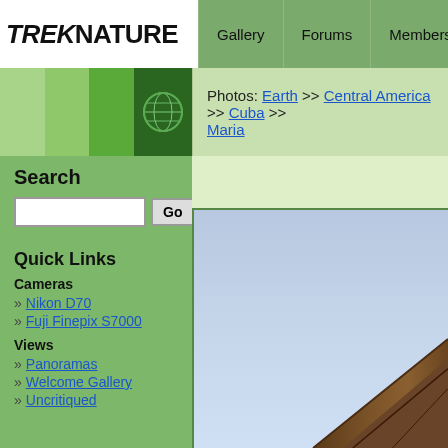TREKNATURE — Gallery | Forums | Members | My Account
[Figure (logo): TrekNature logo with colored green blocks and globe icon]
Photos: Earth >> Central America >> Cuba >> Maria
Search
Quick Links
Cameras
Nikon D70
Fuji Finepix S7000
Views
Panoramas
Welcome Gallery
Uncritiqued
[Figure (photo): Outdoor photo showing blue sky with a brown wooden structure visible at bottom right corner]